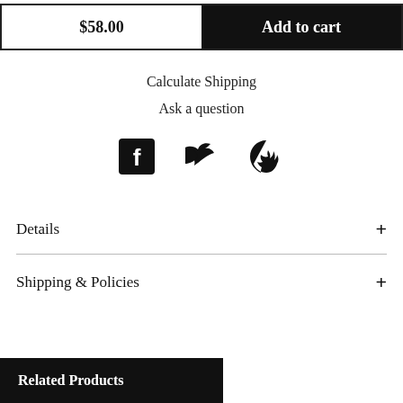$58.00
Add to cart
Calculate Shipping
Ask a question
[Figure (infographic): Social media icons: Facebook, Twitter, Pinterest]
Details +
Shipping & Policies +
Related Products